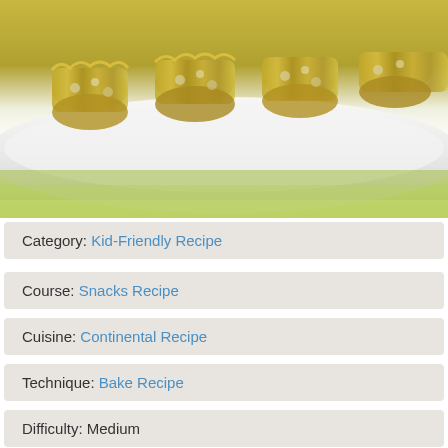[Figure (photo): Photo of baked stuffed pasta rolls or cannelloni on a white plate with green garnish background]
Category: Kid-Friendly Recipe
Course: Snacks Recipe
Cuisine: Continental Recipe
Technique: Bake Recipe
Difficulty: Medium